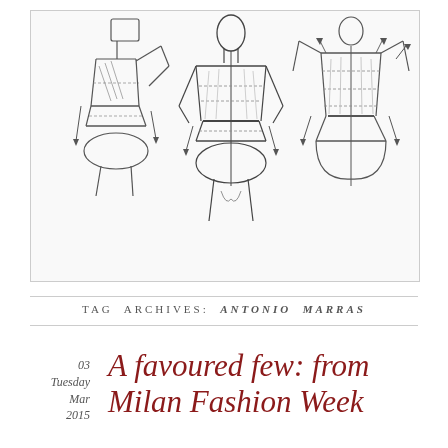[Figure (illustration): Three pencil sketches of fashion figure mannequins showing front, side, and back views with construction lines and arrows indicating fitting adjustments at the waist and hips.]
TAG ARCHIVES: ANTONIO MARRAS
03
Tuesday
Mar
2015
A favoured few: from Milan Fashion Week